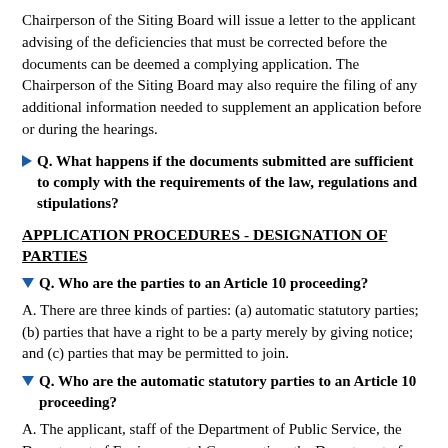Chairperson of the Siting Board will issue a letter to the applicant advising of the deficiencies that must be corrected before the documents can be deemed a complying application. The Chairperson of the Siting Board may also require the filing of any additional information needed to supplement an application before or during the hearings.
Q. What happens if the documents submitted are sufficient to comply with the requirements of the law, regulations and stipulations?
APPLICATION PROCEDURES - DESIGNATION OF PARTIES
Q. Who are the parties to an Article 10 proceeding?
A. There are three kinds of parties: (a) automatic statutory parties; (b) parties that have a right to be a party merely by giving notice; and (c) parties that may be permitted to join.
Q. Who are the automatic statutory parties to an Article 10 proceeding?
A. The applicant, staff of the Department of Public Service, the Department of Environmental Conservation, the Department of